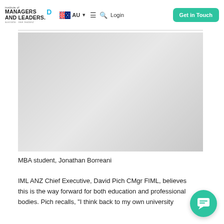Institute of Managers and Leaders · AU · Login · Get in Touch
[Figure (photo): Photo of MBA student Jonathan Borreani]
MBA student, Jonathan Borreani
IML ANZ Chief Executive, David Pich CMgr FIML, believes this is the way forward for both education and professional bodies. Pich recalls, "I think back to my own university